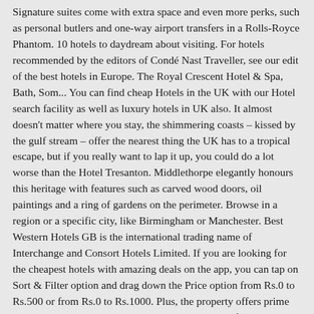Signature suites come with extra space and even more perks, such as personal butlers and one-way airport transfers in a Rolls-Royce Phantom. 10 hotels to daydream about visiting. For hotels recommended by the editors of Condé Nast Traveller, see our edit of the best hotels in Europe. The Royal Crescent Hotel & Spa, Bath, Som... You can find cheap Hotels in the UK with our Hotel search facility as well as luxury hotels in UK also. It almost doesn't matter where you stay, the shimmering coasts – kissed by the gulf stream – offer the nearest thing the UK has to a tropical escape, but if you really want to lap it up, you could do a lot worse than the Hotel Tresanton. Middlethorpe elegantly honours this heritage with features such as carved wood doors, oil paintings and a ring of gardens on the perimeter. Browse in a region or a specific city, like Birmingham or Manchester. Best Western Hotels GB is the international trading name of Interchange and Consort Hotels Limited. If you are looking for the cheapest hotels with amazing deals on the app, you can tap on Sort & Filter option and drag down the Price option from Rs.0 to Rs.500 or from Rs.0 to Rs.1000. Plus, the property offers prime access to Kensington Palace and, The "birthplace of traditional high tea" service, The Langham has been a celebrated staple of traditional hospitality since 1865. Tower Hill, London Boasting a bar, ... Rooms and suites here feature